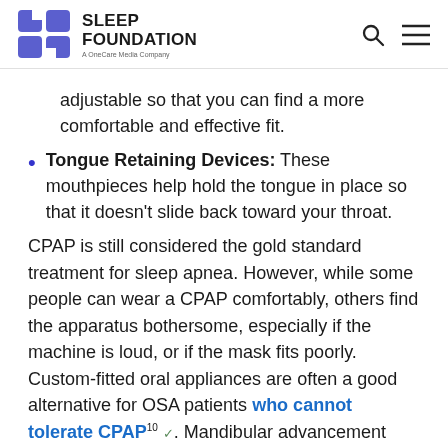SLEEP FOUNDATION — A OneCare Media Company
adjustable so that you can find a more comfortable and effective fit.
Tongue Retaining Devices: These mouthpieces help hold the tongue in place so that it doesn't slide back toward your throat.
CPAP is still considered the gold standard treatment for sleep apnea. However, while some people can wear a CPAP comfortably, others find the apparatus bothersome, especially if the machine is loud, or if the mask fits poorly. Custom-fitted oral appliances are often a good alternative for OSA patients who cannot tolerate CPAP10. Mandibular advancement devices specifically have been